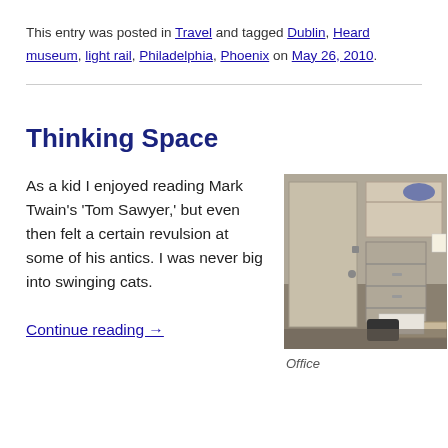This entry was posted in Travel and tagged Dublin, Heard museum, light rail, Philadelphia, Phoenix on May 26, 2010.
Thinking Space
As a kid I enjoyed reading Mark Twain's 'Tom Sawyer,' but even then felt a certain revulsion at some of his antics. I was never big into swinging cats. Continue reading →
[Figure (photo): Photo of an office interior showing a beige metal door/cabinet, shelving unit, desk with papers, and a chair]
Office